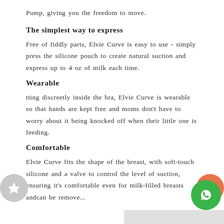Pump, giving you the freedom to move.
The simplest way to express
Free of fiddly parts, Elvie Curve is easy to use - simply press the silicone pouch to create natural suction and express up to 4 oz of milk each time.
Wearable
tting discreetly inside the bra, Elvie Curve is wearable so that hands are kept free and moms don't have to worry about it being knocked off when their little one is feeding.
Comfortable
Elvie Curve fits the shape of the breast, with soft-touch silicone and a valve to control the level of suction, ensuring it's comfortable even for milk-filled breasts andcan be remove...